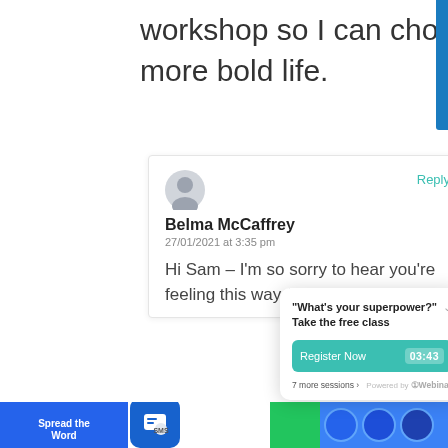workshop so I can choose a more bold life.
[Figure (screenshot): Comment card with avatar, commenter name Belma McCaffrey, date 27/01/2021 at 3:35 pm, and partial comment text: Hi Sam – I'm so sorry to hear you're feeling this way. This so... ca... res...]
[Figure (screenshot): Webinar popup widget with title 'What's your superpower? Take the free class', Register Now button with timer 03:43, 7 more sessions link, and Powered by eWebinar branding]
[Figure (screenshot): Bottom bar with Spread the Word label, SMS icon app button, and social share circles in blue and green]